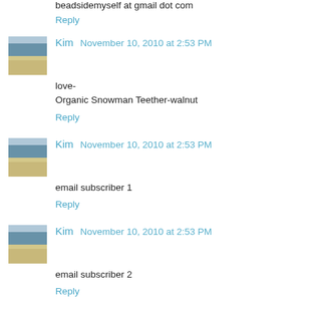beadsidemyself at gmail dot com
Reply
Kim  November 10, 2010 at 2:53 PM
love-
Organic Snowman Teether-walnut
Reply
Kim  November 10, 2010 at 2:53 PM
email subscriber 1
Reply
Kim  November 10, 2010 at 2:53 PM
email subscriber 2
Reply